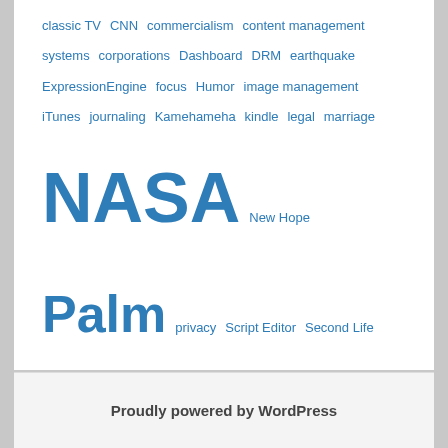classic TV CNN commercialism content management systems corporations Dashboard DRM earthquake ExpressionEngine focus Humor image management iTunes journaling Kamehameha kindle legal marriage NASA New Hope Palm privacy Script Editor Second Life security Song Contest Subversion sync teaching telephones Twitter twittersations Twittervision usability Velcro waileia web cam web services Wi-Fi Winamp
BLOGROLL
Blogos
Proudly powered by WordPress